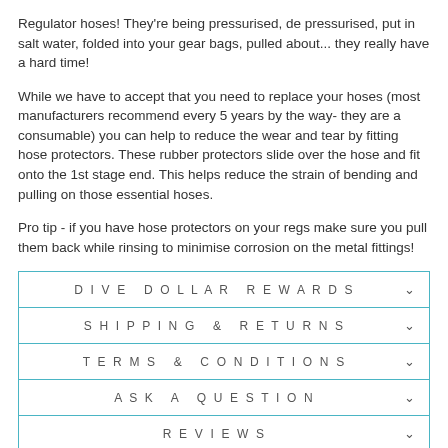Regulator hoses! They're being pressurised, de pressurised, put in salt water, folded into your gear bags, pulled about... they really have a hard time!
While we have to accept that you need to replace your hoses (most manufacturers recommend every 5 years by the way- they are a consumable) you can help to reduce the wear and tear by fitting hose protectors. These rubber protectors slide over the hose and fit onto the 1st stage end. This helps reduce the strain of bending and pulling on those essential hoses.
Pro tip - if you have hose protectors on your regs make sure you pull them back while rinsing to minimise corrosion on the metal fittings!
| DIVE DOLLAR REWARDS | v |
| SHIPPING & RETURNS | v |
| TERMS & CONDITIONS | v |
| ASK A QUESTION | v |
| REVIEWS | v |